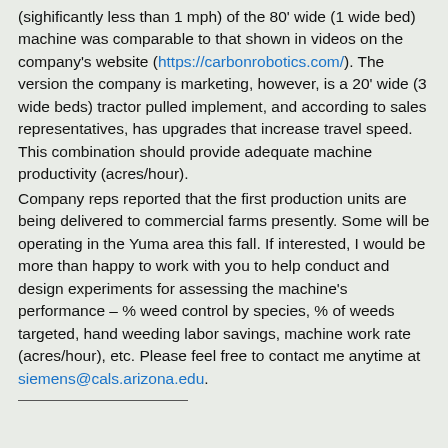(sighificantly less than 1 mph) of the 80' wide (1 wide bed) machine was comparable to that shown in videos on the company's website (https://carbonrobotics.com/). The version the company is marketing, however, is a 20' wide (3 wide beds) tractor pulled implement, and according to sales representatives, has upgrades that increase travel speed. This combination should provide adequate machine productivity (acres/hour).
Company reps reported that the first production units are being delivered to commercial farms presently. Some will be operating in the Yuma area this fall. If interested, I would be more than happy to work with you to help conduct and design experiments for assessing the machine's performance – % weed control by species, % of weeds targeted, hand weeding labor savings, machine work rate (acres/hour), etc. Please feel free to contact me anytime at siemens@cals.arizona.edu.